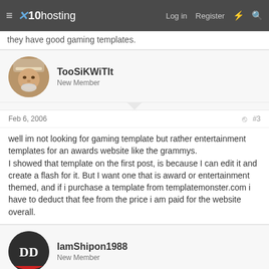x10hosting — Log in  Register
they have good gaming templates.
TooSiKWiTIt
New Member
Feb 6, 2006   #3
well im not looking for gaming template but rather entertainment templates for an awards website like the grammys.
I showed that template on the first post, is because I can edit it and create a flash for it. But I want one that is award or entertainment themed, and if i purchase a template from templatemonster.com i have to deduct that fee from the price i am paid for the website overall.
IamShipon1988
New Member